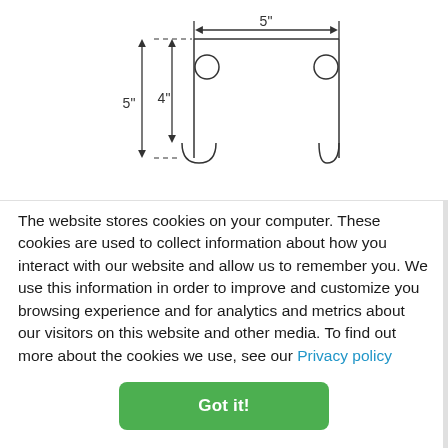[Figure (engineering-diagram): Technical diagram showing a bracket or hanger fixture with dimensions: 5 inches wide (horizontal) and 5 inches / 4 inches vertical measurements. The diagram shows a U-shaped bracket with two circular holes at the top, connected by a horizontal bar, with dimension arrows indicating 5 inch width and 5/4 inch heights.]
The website stores cookies on your computer. These cookies are used to collect information about how you interact with our website and allow us to remember you. We use this information in order to improve and customize you browsing experience and for analytics and metrics about our visitors on this website and other media. To find out more about the cookies we use, see our Privacy policy
Got it!